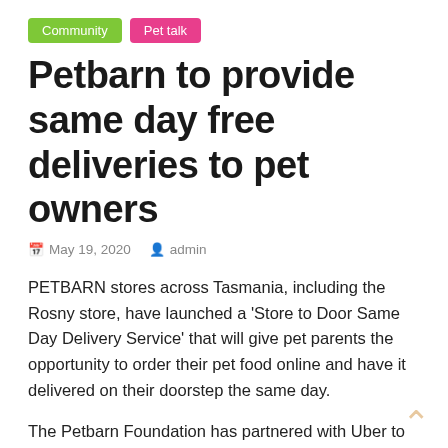Community | Pet talk
Petbarn to provide same day free deliveries to pet owners
May 19, 2020   admin
PETBARN stores across Tasmania, including the Rosny store, have launched a ‘Store to Door Same Day Delivery Service’ that will give pet parents the opportunity to order their pet food online and have it delivered on their doorstep the same day.
The Petbarn Foundation has partnered with Uber to ensure the health and wellbeing of both pets and pet parents, while being at the cutting-edge of on-demand delivery.